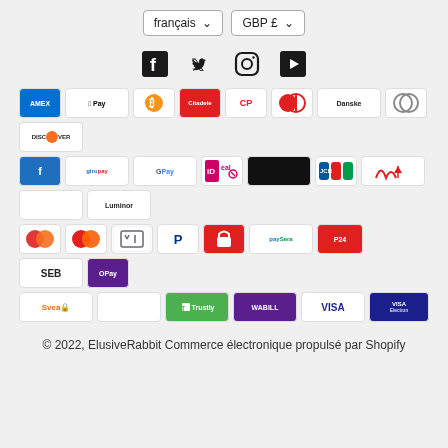[Figure (screenshot): Language selector button showing 'français' with dropdown arrow]
[Figure (screenshot): Currency selector button showing 'GBP £' with dropdown arrow]
[Figure (infographic): Social media icons: Facebook, Twitter, Instagram, YouTube]
[Figure (infographic): Payment method logos: AMEX, Apple Pay, Bitcoin, Citadele, CartePay, Dankort, Danske, Diners, Discover, Forbrugsforeningen, Giropay, Google Pay, iDEAL, blank, JCB, Viking/Nordea, blank, Luminor, Maestro, Mastercard, Klarna, PayPal, padlock/Secure, PaySera, P24, SEB, OPay, Svea, blank, Trustly, Wabill, Visa, Visa Electron]
© 2022, ElusiveRabbit Commerce électronique propulsé par Shopify